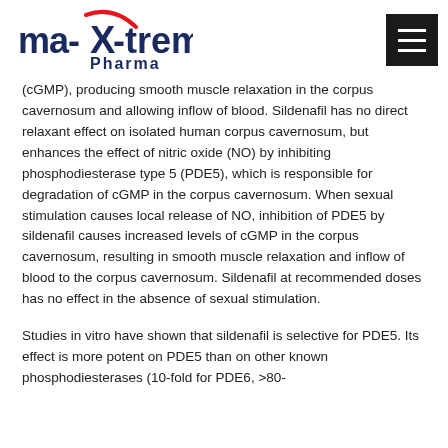ma-X-treme Pharma
(cGMP), producing smooth muscle relaxation in the corpus cavernosum and allowing inflow of blood. Sildenafil has no direct relaxant effect on isolated human corpus cavernosum, but enhances the effect of nitric oxide (NO) by inhibiting phosphodiesterase type 5 (PDE5), which is responsible for degradation of cGMP in the corpus cavernosum. When sexual stimulation causes local release of NO, inhibition of PDE5 by sildenafil causes increased levels of cGMP in the corpus cavernosum, resulting in smooth muscle relaxation and inflow of blood to the corpus cavernosum. Sildenafil at recommended doses has no effect in the absence of sexual stimulation.
Studies in vitro have shown that sildenafil is selective for PDE5. Its effect is more potent on PDE5 than on other known phosphodiesterases (10-fold for PDE6, >80-